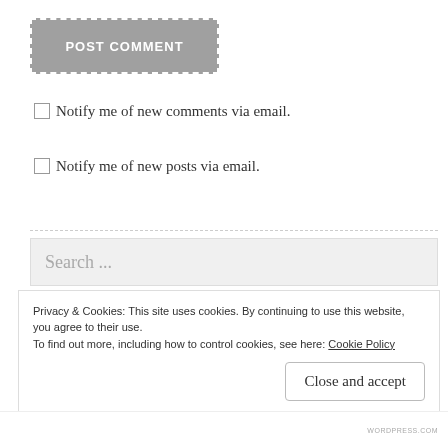[Figure (screenshot): POST COMMENT button with dashed white border on gray background]
Notify me of new comments via email.
Notify me of new posts via email.
[Figure (screenshot): Search input field with placeholder text 'Search ...']
Privacy & Cookies: This site uses cookies. By continuing to use this website, you agree to their use.
To find out more, including how to control cookies, see here: Cookie Policy
Close and accept